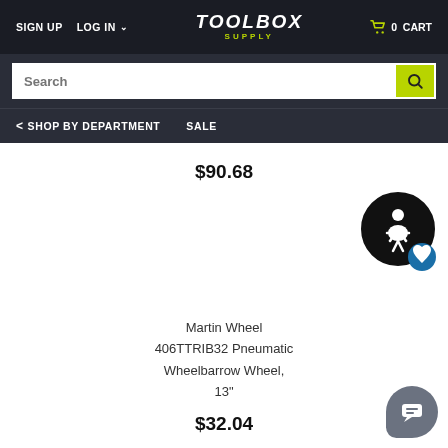SIGN UP  LOG IN  TOOLBOX SUPPLY  0 CART
Search
< SHOP BY DEPARTMENT   SALE
$90.68
[Figure (other): Accessibility icon - circle with person silhouette]
Martin Wheel 406TTRIB32 Pneumatic Wheelbarrow Wheel, 13"
$32.04